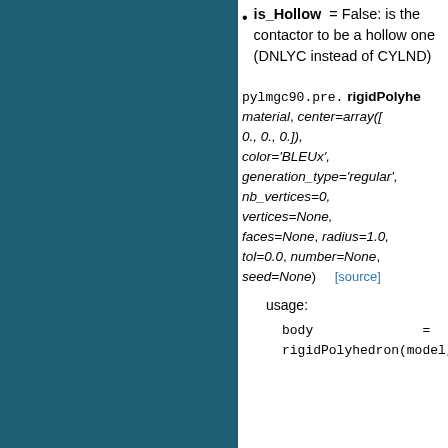is_Hollow = False: is the contactor to be a hollow one (DNLYC instead of CYLND)
pylmgc90.pre. rigidPolyhedron(material, center=array([0., 0., 0.]), color='BLEUx', generation_type='regular', nb_vertices=0, vertices=None, faces=None, radius=1.0, tol=0.0, number=None, seed=None) [source]
usage:
body = rigidPolyhedron(model,